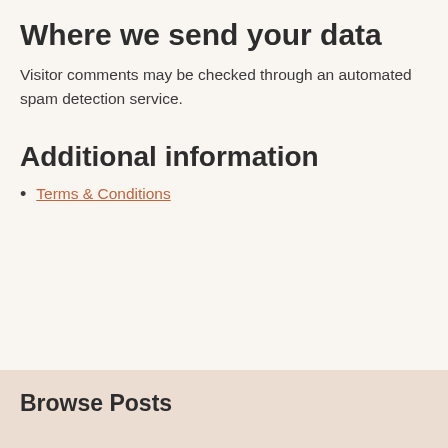Where we send your data
Visitor comments may be checked through an automated spam detection service.
Additional information
Terms & Conditions
Browse Posts